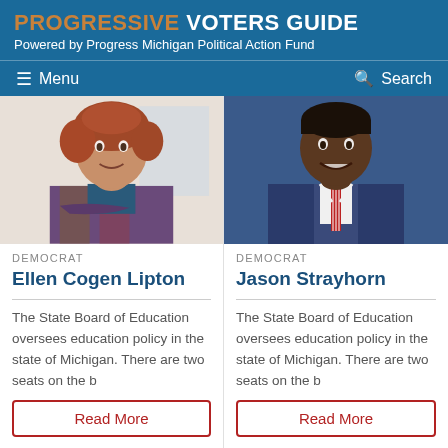PROGRESSIVE VOTERS GUIDE
Powered by Progress Michigan Political Action Fund
[Figure (screenshot): Navigation bar with Menu and Search options on blue background]
[Figure (photo): Photo of Ellen Cogen Lipton, a woman with curly red hair wearing a plaid jacket]
DEMOCRAT
Ellen Cogen Lipton
The State Board of Education oversees education policy in the state of Michigan. There are two seats on the b...
[Figure (photo): Photo of Jason Strayhorn, a man in a blue suit with red striped tie]
DEMOCRAT
Jason Strayhorn
The State Board of Education oversees education policy in the state of Michigan. There are two seats on the b...